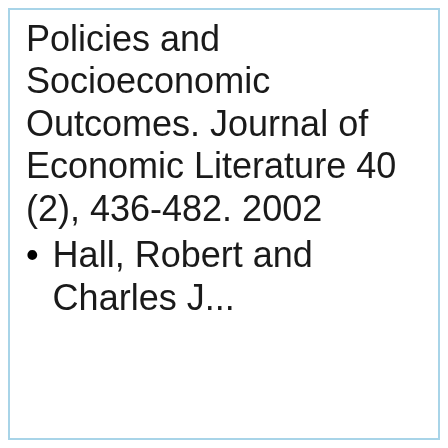Policies and Socioeconomic Outcomes. Journal of Economic Literature 40 (2), 436-482. 2002
Hall, Robert and Charles J...